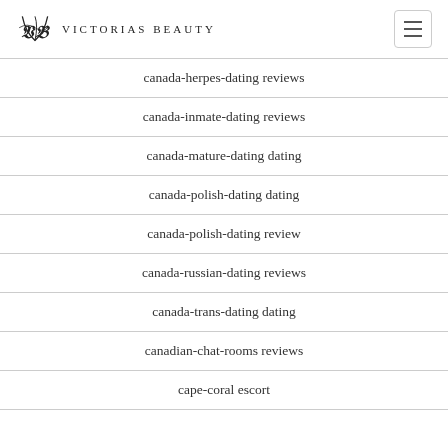Victorias Beauty
canada-herpes-dating reviews
canada-inmate-dating reviews
canada-mature-dating dating
canada-polish-dating dating
canada-polish-dating review
canada-russian-dating reviews
canada-trans-dating dating
canadian-chat-rooms reviews
cape-coral escort